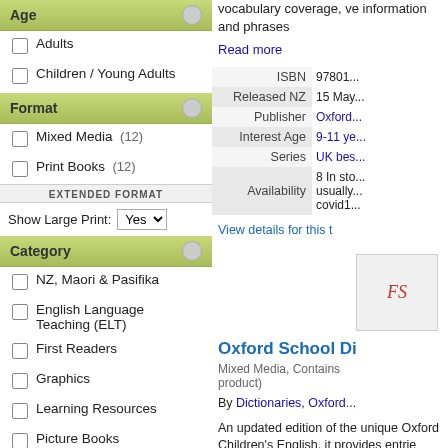Age
Adults
Children / Young Adults
Format
Mixed Media (12)
Print Books (12)
EXTENDED FORMAT
Show Large Print: Yes
Category
NZ, Maori & Pasifika
English Language Teaching (ELT)
First Readers
Graphics
Learning Resources
Picture Books
Publication Country
United Kingdom (24)
vocabulary coverage, ve information and phrases
Read more
| Field | Value |
| --- | --- |
| ISBN | 97801... |
| Released NZ | 15 May... |
| Publisher | Oxford... |
| Interest Age | 9-11 ye... |
| Series | UK bes... |
| Availability | 8 In sto... usually... covid19... |
View details for this t
[Figure (other): Book cover placeholder with FS italic label in red]
Oxford School Di
Mixed Media, Contains product)
By Dictionaries, Oxford
An updated edition of the unique Oxford Children's English, it provides entrie